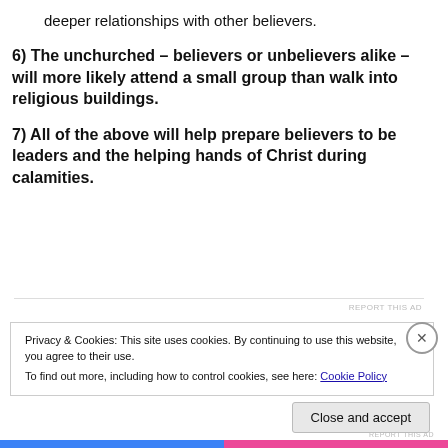deeper relationships with other believers.
6) The unchurched – believers or unbelievers alike – will more likely attend a small group than walk into religious buildings.
7) All of the above will help prepare believers to be leaders and the helping hands of Christ during calamities.
REPORT THIS AD
Privacy & Cookies: This site uses cookies. By continuing to use this website, you agree to their use.
To find out more, including how to control cookies, see here: Cookie Policy
Close and accept